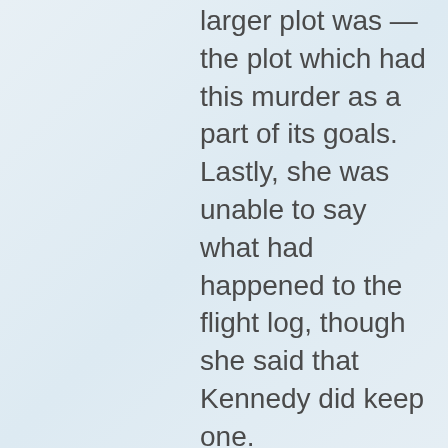larger plot was — the plot which had this murder as a part of its goals. Lastly, she was unable to say what had happened to the flight log, though she said that Kennedy did keep one.

In total, there were